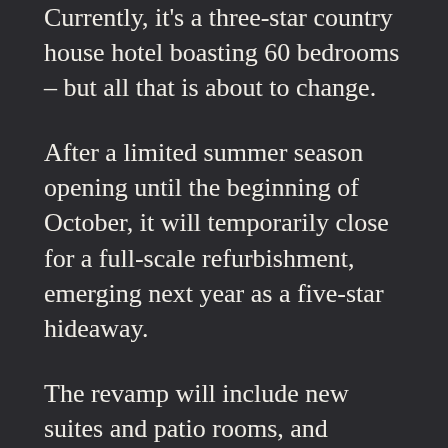Currently, it's a three-star country house hotel boasting 60 bedrooms – but all that is about to change.
After a limited summer season opening until the beginning of October, it will temporarily close for a full-scale refurbishment, emerging next year as a five-star hideaway.
The revamp will include new suites and patio rooms, and there'll be a new luxury spa and a screening room.
The hotel will be operated by Monday